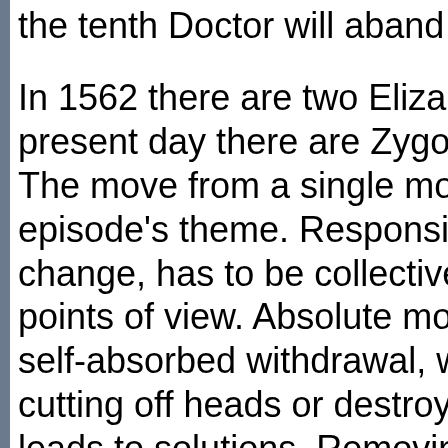the tenth Doctor will aband...
In 1562 there are two Eliza... present day there are Zygo... The move from a single mo... episode's theme. Responsi... change, has to be collective... points of view. Absolute mo... self-absorbed withdrawal, w... cutting off heads or destroy... leads to solutions. Removin...